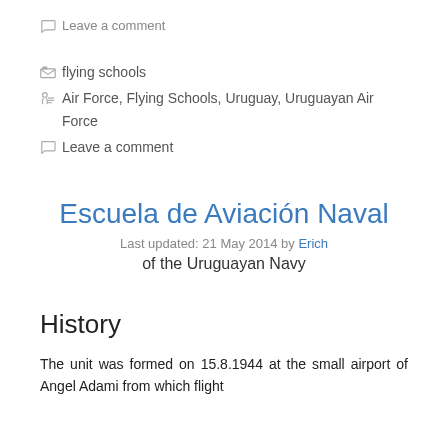Leave a comment
flying schools
Air Force, Flying Schools, Uruguay, Uruguayan Air Force
Leave a comment
Escuela de Aviación Naval
Last updated: 21 May 2014 by Erich
of the Uruguayan Navy
History
The unit was formed on 15.8.1944 at the small airport of Angel Adami from which flight